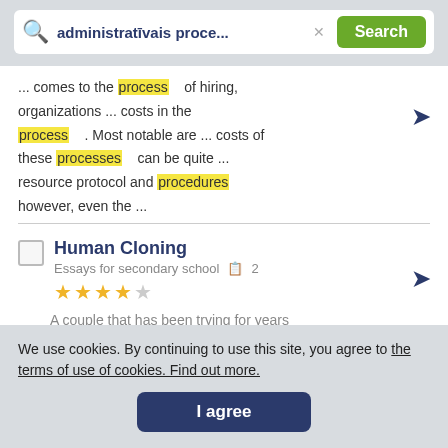[Figure (screenshot): Search bar with query 'administratīvais proce...' and green Search button]
... comes to the process of hiring, organizations ... costs in the process . Most notable are ... costs of these processes can be quite ... resource protocol and procedures however, even the ...
Human Cloning
Essays for secondary school  2
★★★★☆
A couple that has been trying for years
We use cookies. By continuing to use this site, you agree to the terms of use of cookies. Find out more.
I agree